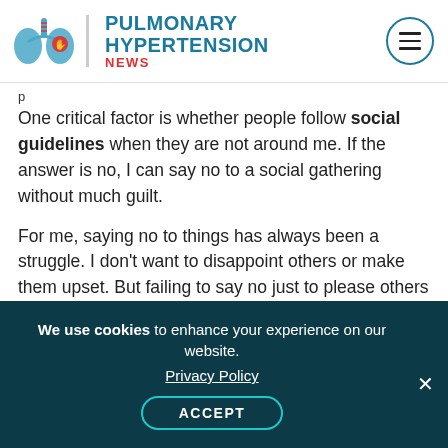Pulmonary Hypertension News
One critical factor is whether people follow social guidelines when they are not around me. If the answer is no, I can say no to a social gathering without much guilt.
For me, saying no to things has always been a struggle. I don’t want to disappoint others or make them upset. But failing to say no just to please others can threaten our health.
Most people, unless they have a chronic or rare condition, don’t seem to understand this. Some
We use cookies to enhance your experience on our website. Privacy Policy ACCEPT